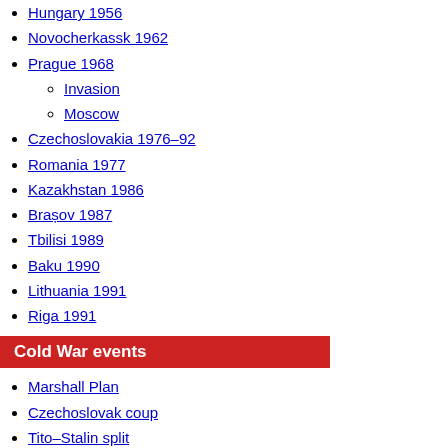Hungary 1956
Novocherkassk 1962
Prague 1968
Invasion
Moscow
Czechoslovakia 1976–92
Romania 1977
Kazakhstan 1986
Brașov 1987
Tbilisi 1989
Baku 1990
Lithuania 1991
Riga 1991
Cold War events
Marshall Plan
Czechoslovak coup
Tito–Stalin split
Berlin Blockade
Korean War
Secret Speech
Sino-Soviet split
Soviet–Albanian split
De-satellization of Communist